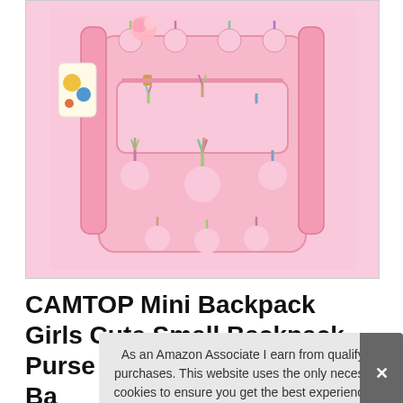[Figure (photo): Pink unicorn pattern mini backpack with floral unicorn face print, gold zipper, pom pom keychain, and adjustable straps.]
CAMTOP Mini Backpack Girls Cute Small Backpack Purse for Teens Wo Ba Pi
As an Amazon Associate I earn from qualifying purchases. This website uses the only necessary cookies to ensure you get the best experience on our website. More information